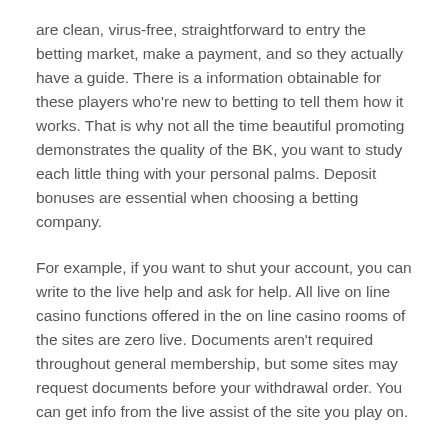are clean, virus-free, straightforward to entry the betting market, make a payment, and so they actually have a guide. There is a information obtainable for these players who're new to betting to tell them how it works. That is why not all the time beautiful promoting demonstrates the quality of the BK, you want to study each little thing with your personal palms. Deposit bonuses are essential when choosing a betting company.
For example, if you want to shut your account, you can write to the live help and ask for help. All live on line casino functions offered in the on line casino rooms of the sites are zero live. Documents aren't required throughout general membership, but some sites may request documents before your withdrawal order. You can get info from the live assist of the site you play on.
At the same time, the portable gadget can be used each horizontally and vertically. With the assistance of our portal